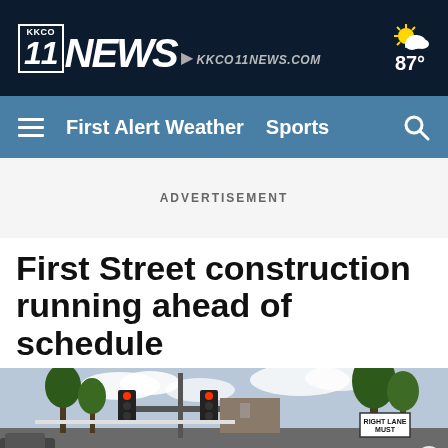KKCO 11 NEWS · KKCO11NEWS.COM · 87°
First Alert Weather  Sports
ADVERTISEMENT
First Street construction running ahead of schedule
[Figure (photo): Street scene showing traffic signals, signs including RIGHT LANE MUST, trees, and construction area at First Street]